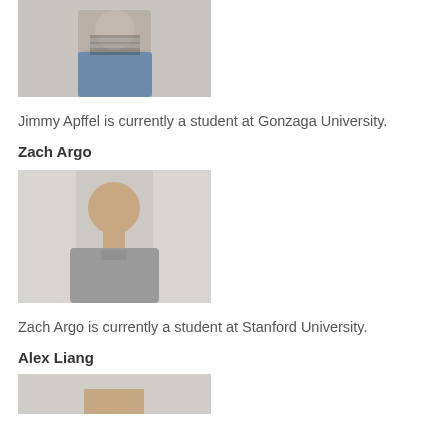[Figure (photo): Headshot photo of Jimmy Apffel, a young man wearing a denim jacket and striped shirt]
Jimmy Apffel is currently a student at Gonzaga University.
Zach Argo
[Figure (photo): Headshot photo of Zach Argo, a young man smiling wearing a gray Nike t-shirt]
Zach Argo is currently a student at Stanford University.
Alex Liang
[Figure (photo): Headshot photo of Alex Liang, partially visible at bottom of page]